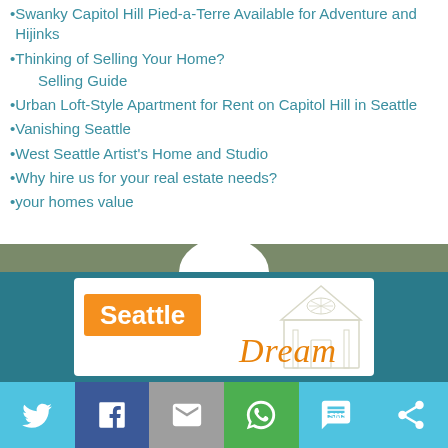Swanky Capitol Hill Pied-a-Terre Available for Adventure and Hijinks
Thinking of Selling Your Home?
Selling Guide
Urban Loft-Style Apartment for Rent on Capitol Hill in Seattle
Vanishing Seattle
West Seattle Artist's Home and Studio
Why hire us for your real estate needs?
your homes value
[Figure (logo): Seattle Dream real estate logo with orange 'Seattle' text block and italic 'Dream' script, inside a white box with house illustration, on teal background with olive banner]
[Figure (infographic): Social sharing bar with Twitter, Facebook, Email, WhatsApp, SMS, and share icons]